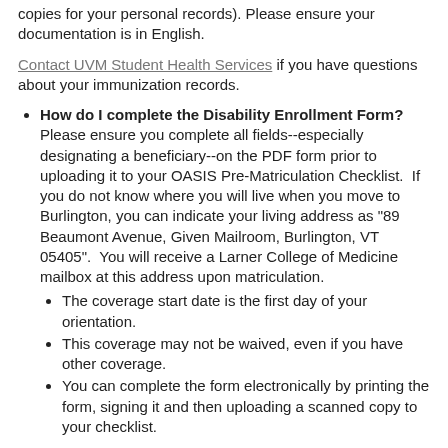copies for your personal records). Please ensure your documentation is in English.
Contact UVM Student Health Services if you have questions about your immunization records.
How do I complete the Disability Enrollment Form? Please ensure you complete all fields--especially designating a beneficiary--on the PDF form prior to uploading it to your OASIS Pre-Matriculation Checklist. If you do not know where you will live when you move to Burlington, you can indicate your living address as "89 Beaumont Avenue, Given Mailroom, Burlington, VT 05405". You will receive a Larner College of Medicine mailbox at this address upon matriculation.
The coverage start date is the first day of your orientation.
This coverage may not be waived, even if you have other coverage.
You can complete the form electronically by printing the form, signing it and then uploading a scanned copy to your checklist.
My physician cannot complete the immunization form